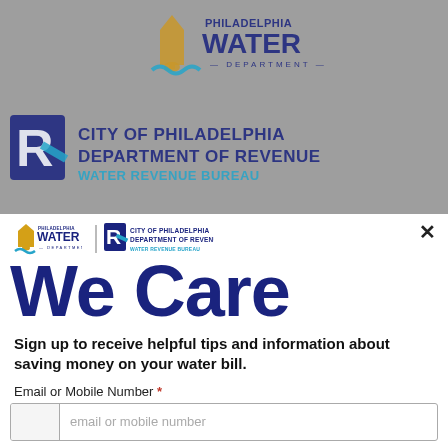[Figure (logo): Philadelphia Water Department and City of Philadelphia Department of Revenue Water Revenue Bureau logos shown in background (blurred/greyed)]
[Figure (logo): Philadelphia Water Department logo and City of Philadelphia Department of Revenue Water Revenue Bureau logo in modal header]
We Care
Sign up to receive helpful tips and information about saving money on your water bill.
Email or Mobile Number *
email or mobile number